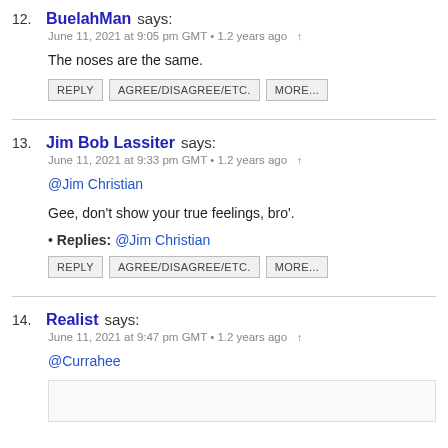12. BuelahMan says:
June 11, 2021 at 9:05 pm GMT • 1.2 years ago
The noses are the same.
REPLY AGREE/DISAGREE/ETC. MORE...
13. Jim Bob Lassiter says:
June 11, 2021 at 9:33 pm GMT • 1.2 years ago
@Jim Christian
Gee, don't show your true feelings, bro'.
• Replies: @Jim Christian
REPLY AGREE/DISAGREE/ETC. MORE...
14. Realist says:
June 11, 2021 at 9:47 pm GMT • 1.2 years ago
@Currahee